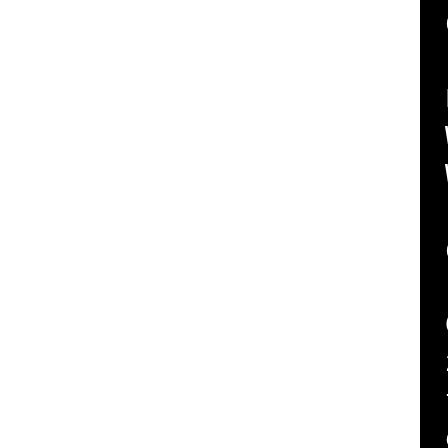[Figure (screenshot): Terminal/console output showing PHPDocumentor documentation generation process. Left portion of page is white (another panel cropped), right portion shows black terminal with white monospace text. Text includes: 'done', 'Formatting Left Quick Inde...', 'Writing phpdoc/li_PHPMaile...', 'Writing phpdoc/classtrees_...', 'done', 'Converting /tmp/B.5ff9df45...', '2/class.phpmailer.php Pro...', 'fined property: parserExa...', 'or/phpDocumentor/DocBlockT...', 'PHP Notice: Undefined pro...', 'pear/PhpDocumentor/phpDocu...', 'Creating Directory phpdoc/...', 'Writing phpdoc/PHPMailer/P...', 'Writing phpdoc/PHPMailer/p...', 'done', 'Writing phpdoc/PHPMailer/...', 'Converting /tmp/B.5ff9df45...', '2/class.phpmaileroauth.php...', 'Writing phpdoc/PHPMailer/P...', 'done']